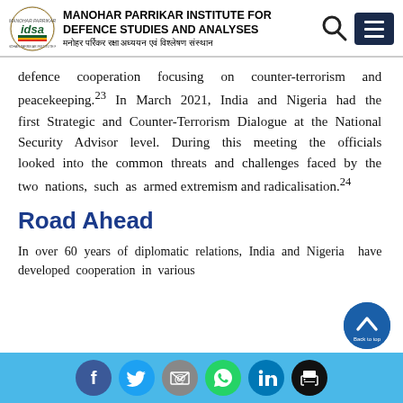MANOHAR PARRIKAR INSTITUTE FOR DEFENCE STUDIES AND ANALYSES | मनोहर पर्रिकर रक्षा अध्ययन एवं विश्लेषण संस्थान
defence cooperation focusing on counter-terrorism and peacekeeping.²³ In March 2021, India and Nigeria had the first Strategic and Counter-Terrorism Dialogue at the National Security Advisor level. During this meeting the officials looked into the common threats and challenges faced by the two nations, such as armed extremism and radicalisation.²⁴
Road Ahead
In over 60 years of diplomatic relations, India and Nigeria have developed cooperation in various
Social media icons: Facebook, Twitter, Email, WhatsApp, LinkedIn, Print